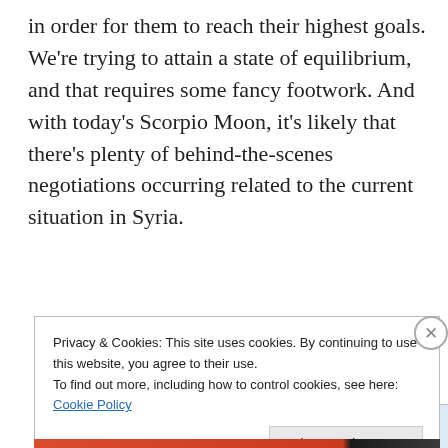in order for them to reach their highest goals. We're trying to attain a state of equilibrium, and that requires some fancy footwork. And with today's Scorpio Moon, it's likely that there's plenty of behind-the-scenes negotiations occurring related to the current situation in Syria.
Advertisements
[Figure (other): Advertisement banner: 'Build a writing habit. Post on the go.' with 'GET THE APP' button and WordPress logo]
Privacy & Cookies: This site uses cookies. By continuing to use this website, you agree to their use.
To find out more, including how to control cookies, see here: Cookie Policy